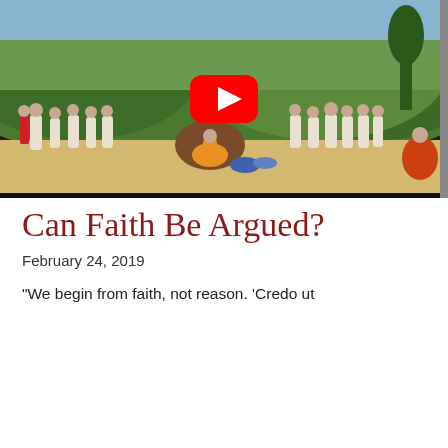[Figure (screenshot): A YouTube video thumbnail showing a ballet or theatrical performance on stage with many dancers in white costumes on a stage with a colorful green landscape backdrop. A large red YouTube play button overlay is centered on the image.]
Can Faith Be Argued?
February 24, 2019
"We begin from faith, not reason. 'Credo ut